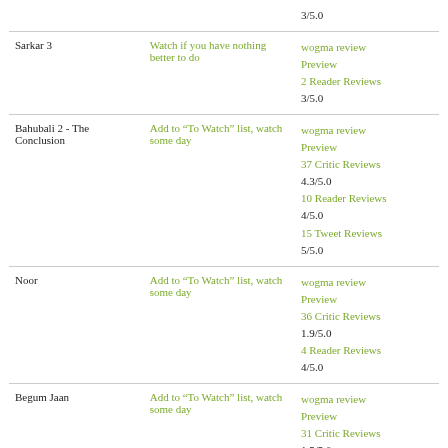| Movie | Recommendation | Reviews |
| --- | --- | --- |
|  |  | 3/5.0 |
| Sarkar 3 | Watch if you have nothing better to do | wogma review
Preview
2 Reader Reviews
3/5.0 |
| Bahubali 2 - The Conclusion | Add to “To Watch” list, watch some day | wogma review
Preview
37 Critic Reviews
4.3/5.0
10 Reader Reviews
4/5.0
15 Tweet Reviews
5/5.0 |
| Noor | Add to “To Watch” list, watch some day | wogma review
Preview
36 Critic Reviews
1.9/5.0
4 Reader Reviews
4/5.0 |
| Begum Jaan | Add to “To Watch” list, watch some day | wogma review
Preview
31 Critic Reviews
1.5/5.0
2 Reader Reviews
1/5.0
30 Tweet Reviews
3.4/5.0 |